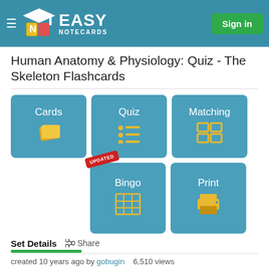Easy Notecards — Sign in
Human Anatomy & Physiology: Quiz - The Skeleton Flashcards
[Figure (screenshot): Five navigation buttons in a grid: Cards, Quiz, Matching (top row), Bingo (with UPDATED badge), Print (bottom row). Each is a teal/blue rounded rectangle with a label and a gold icon.]
Set Details   Share
created 10 years ago by gobugin   6,510 views
Human Anatomy & Physiology
Chapter 7